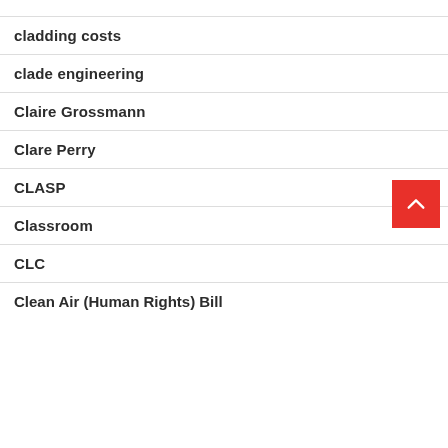cladding costs
clade engineering
Claire Grossmann
Clare Perry
CLASP
Classroom
CLC
Clean Air (Human Rights) Bill